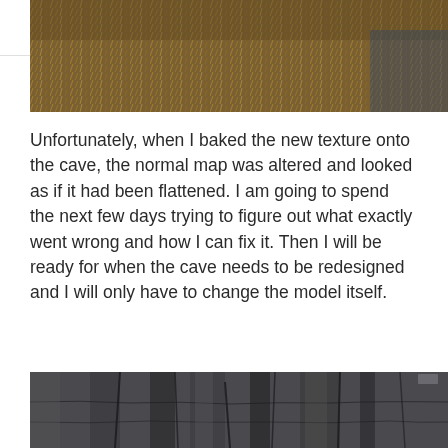☰
[Figure (photo): Bottom portion of a photo showing what appears to be a furry or grassy textured surface with brown and golden tones, cropped at the top of the page.]
Unfortunately, when I baked the new texture onto the cave, the normal map was altered and looked as if it had been flattened. I am going to spend the next few days trying to figure out what exactly went wrong and how I can fix it. Then I will be ready for when the cave needs to be redesigned and I will only have to change the model itself.
[Figure (screenshot): A 3D rendered image of a cave interior showing dark grey stone walls with stylized rock textures, cracks, and angular stone surfaces rendered in a game-art style.]